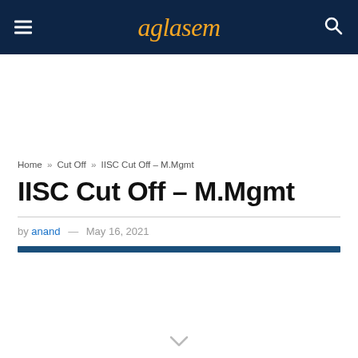aglasem
Home » Cut Off » IISC Cut Off – M.Mgmt
IISC Cut Off – M.Mgmt
by anand — May 16, 2021